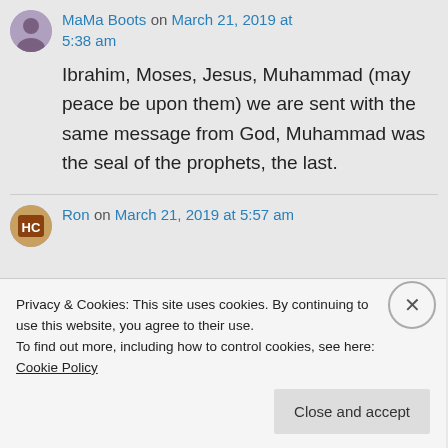MaMa Boots on March 21, 2019 at 5:38 am
Ibrahim, Moses, Jesus, Muhammad (may peace be upon them) we are sent with the same message from God, Muhammad was the seal of the prophets, the last.
Ron on March 21, 2019 at 5:57 am
Privacy & Cookies: This site uses cookies. By continuing to use this website, you agree to their use. To find out more, including how to control cookies, see here: Cookie Policy